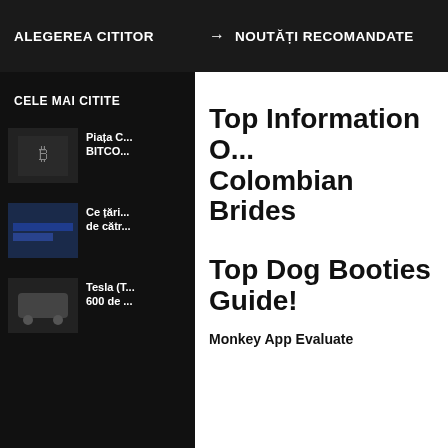ALEGEREA CITITOR → NOUTĂȚI RECOMANDATE
CELE MAI CITITE
Piața C... BITCO...
Ce țări... de cătr...
Tesla (T... 600 de ...
Top Information O... Colombian Brides
Top Dog Booties Guide!
Monkey App Evaluate